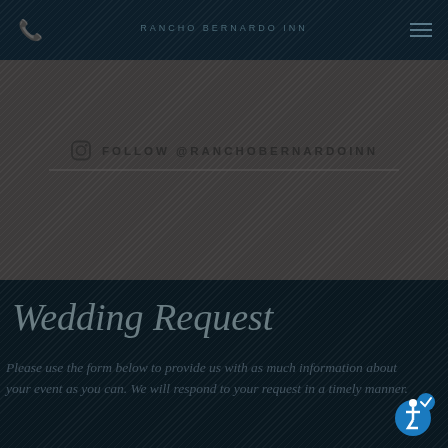RANCHO BERNARDO INN
FOLLOW @RANCHOBERNARDOINN
Wedding Request
Please use the form below to provide us with as much information about your event as you can. We will respond to your request in a timely manner.